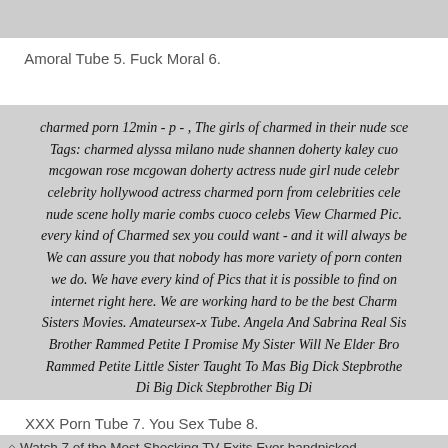[Figure (photo): Partial image at top of page, gray background visible]
Amoral Tube 5. Fuck Moral 6.
charmed porn 12min - p - , The girls of charmed in their nude sce Tags: charmed alyssa milano nude shannen doherty kaley cuo mcgowan rose mcgowan doherty actress nude girl nude celebr celebrity hollywood actress charmed porn from celebrities cele nude scene holly marie combs cuoco celebs View Charmed Pic every kind of Charmed sex you could want - and it will always be We can assure you that nobody has more variety of porn conten we do. We have every kind of Pics that it is possible to find on internet right here. We are working hard to be the best Charm Sisters Movies. Amateursex-x Tube. Angela And Sabrina Real Sis Brother Rammed Petite I Promise My Sister Will Ne Elder Bro Rammed Petite Little Sister Taught To Mas Big Dick Stepbrothe Di Big Dick Stepbrother Big Di
XXX Porn Tube 7. You Sex Tube 8.
Watch 7 of the Most Shocking TV Exits Ever handpicked...